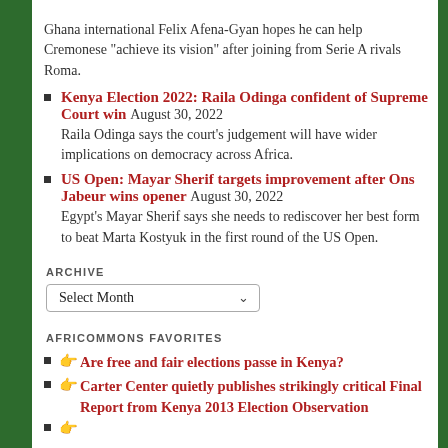Ghana international Felix Afena-Gyan hopes he can help Cremonese "achieve its vision" after joining from Serie A rivals Roma.
Kenya Election 2022: Raila Odinga confident of Supreme Court win August 30, 2022 — Raila Odinga says the court's judgement will have wider implications on democracy across Africa.
US Open: Mayar Sherif targets improvement after Ons Jabeur wins opener August 30, 2022 — Egypt's Mayar Sherif says she needs to rediscover her best form to beat Marta Kostyuk in the first round of the US Open.
ARCHIVE
Select Month
AFRICOMMONS FAVORITES
👉 Are free and fair elections passe in Kenya?
👉 Carter Center quietly publishes strikingly critical Final Report from Kenya 2013 Election Observation